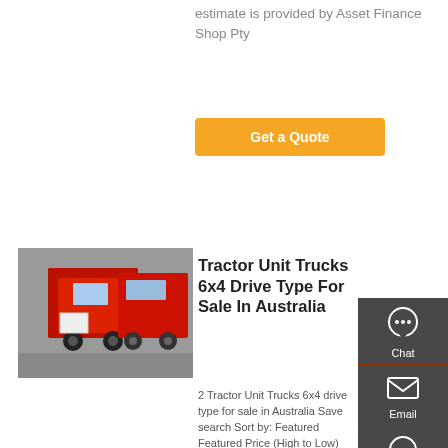estimate is provided by Asset Finance Shop Pty
[Figure (other): Orange 'Get a Quote' button]
[Figure (photo): Red tractor unit trucks parked side by side]
Tractor Unit Trucks 6x4 Drive Type For Sale In Australia
2 Tractor Unit Trucks 6x4 drive type for sale in Australia Save search Sort by: Featured Featured Price (High to Low) Price (Low to High) Year Made (High to Low) Year Made (Low to High) Make (A-Z) Make (Z-A) Last Updated Most Recent